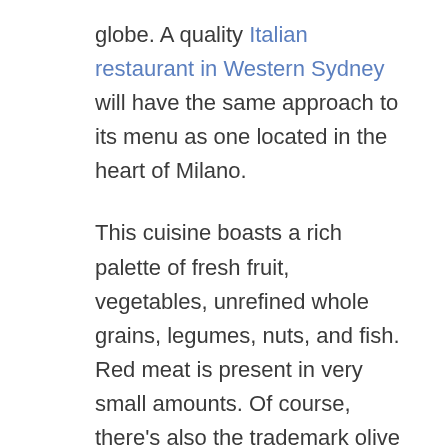globe. A quality Italian restaurant in Western Sydney will have the same approach to its menu as one located in the heart of Milano.
This cuisine boasts a rich palette of fresh fruit, vegetables, unrefined whole grains, legumes, nuts, and fish. Red meat is present in very small amounts. Of course, there's also the trademark olive oil. All of this guarantees a diet packed full of healthy omega fatty acids, antioxidants, vitamins, and good protein.
One interesting food trend to note is that Italians have some kind of pasta dish several times a week. This might sound bad